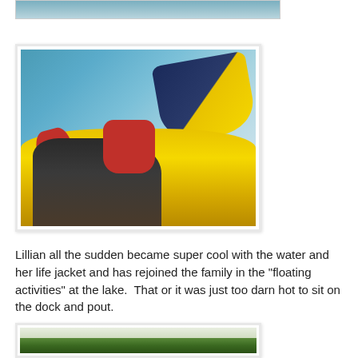[Figure (photo): Partial top crop of a photo showing water/lake scene]
[Figure (photo): Father and baby on yellow inflatable tube/raft on a lake. Baby wearing red life jacket. Yellow and red inflatable board visible. Water in background.]
Lillian all the sudden became super cool with the water and her life jacket and has rejoined the family in the "floating activities" at the lake.  That or it was just too darn hot to sit on the dock and pout.
[Figure (photo): Landscape photo of trees along a lake shoreline with light sky above]